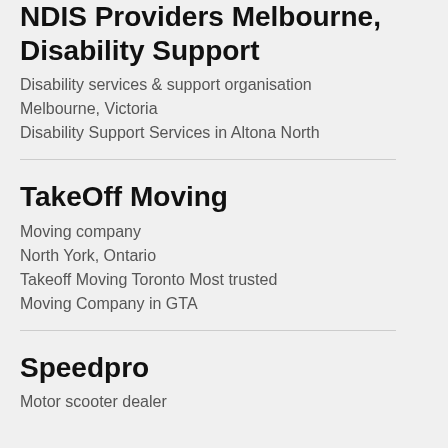NDIS Providers Melbourne, Disability Support
Disability services & support organisation
Melbourne, Victoria
Disability Support Services in Altona North
TakeOff Moving
Moving company
North York, Ontario
Takeoff Moving Toronto Most trusted Moving Company in GTA
Speedpro
Motor scooter dealer